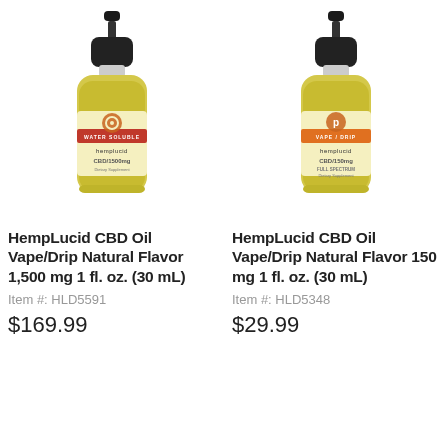[Figure (photo): HempLucid CBD Oil bottle with dropper cap, yellow/golden liquid, WATER SOLUBLE label, CBD/1500mg]
HempLucid CBD Oil Vape/Drip Natural Flavor 1,500 mg 1 fl. oz. (30 mL)
Item #: HLD5591
$169.99
[Figure (photo): HempLucid CBD Oil bottle with dropper cap, yellow/golden liquid, VAPE/DRIP label, CBD/150mg FULL SPECTRUM]
HempLucid CBD Oil Vape/Drip Natural Flavor 150 mg 1 fl. oz. (30 mL)
Item #: HLD5348
$29.99